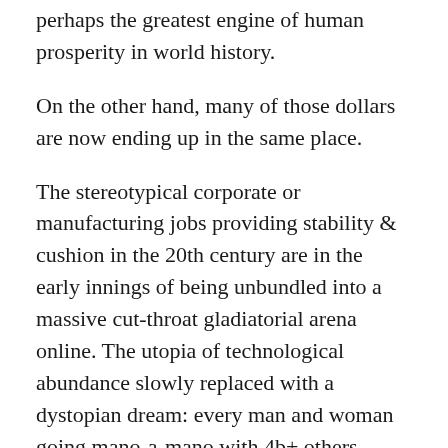perhaps the greatest engine of human prosperity in world history.
On the other hand, many of those dollars are now ending up in the same place.
The stereotypical corporate or manufacturing jobs providing stability & cushion in the 20th century are in the early innings of being unbundled into a massive cut-throat gladiatorial arena online. The utopia of technological abundance slowly replaced with a dystopian dream: every man and woman going mano-a-mano with 4b+ others. While the profit pool will increase, the new super-powers of global distribution for the top 1% are likely to make pure meritocracy untenable for the median individual. Maintaining the incentives to produce while ensuring rising living standards for those unable to compete, while finding a